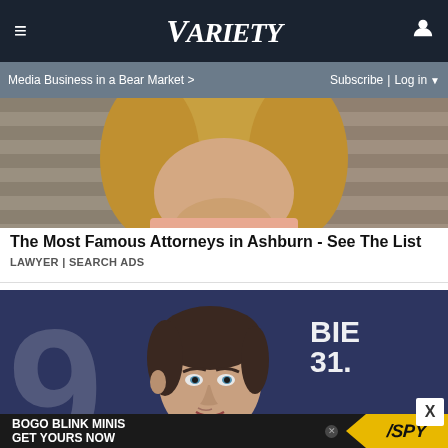VARIETY — Media Business in a Bear Market > | Subscribe | Log in
[Figure (photo): Cropped advertisement photo showing partial view of a blonde woman from chin down, against a stepped stone/concrete background]
The Most Famous Attorneys in Ashburn - See The List
LAWYER | SEARCH ADS
[Figure (photo): Photo of Brendan Fraser at what appears to be the Venice Film Festival (79th edition), smiling, wearing a suit, against a dark blue background with white text showing '9', 'BIEL', and '31.0']
[Figure (screenshot): Bottom banner advertisement: BOGO BLINK MINIS GET YOURS NOW — SPY logo in yellow]